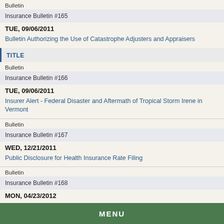Bulletin
Insurance Bulletin #165
TUE, 09/06/2011
Bulletin Authorizing the Use of Catastrophe Adjusters and Appraisers
TITLE
Bulletin
Insurance Bulletin #166
TUE, 09/06/2011
Insurer Alert - Federal Disaster and Aftermath of Tropical Storm Irene in Vermont
Bulletin
Insurance Bulletin #167
WED, 12/21/2011
Public Disclosure for Health Insurance Rate Filing
Bulletin
Insurance Bulletin #168
MON, 04/23/2012
Confidentiality Requests in Managed Care Filing
MENU